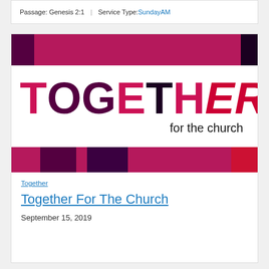Passage: Genesis 2:1 | Service Type: SundayAM
[Figure (logo): Together for the church event logo with colorful block letters T-O-G-E-T-H-E-R in magenta, dark purple, and dark red, with 'for the church' in black, framed by magenta stripe bars at top and bottom]
Together
Together For The Church
September 15, 2019